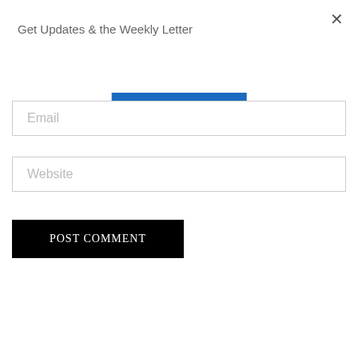×
Get Updates & the Weekly Letter
Subscribe
Email
Website
POST COMMENT